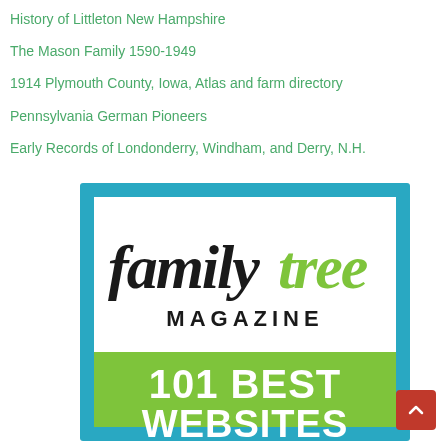History of Littleton New Hampshire
The Mason Family 1590-1949
1914 Plymouth County, Iowa, Atlas and farm directory
Pennsylvania German Pioneers
Early Records of Londonderry, Windham, and Derry, N.H.
[Figure (logo): Family Tree Magazine 101 Best Websites badge — teal border, white background with 'familytree' in black serif italic and 'tree' in green, 'MAGAZINE' in black caps, green banner reading '101 BEST WEBSITES' in bold white text]